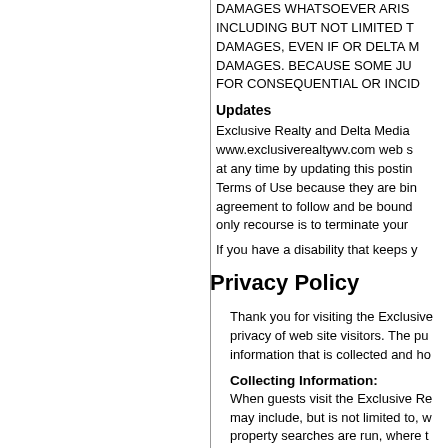DAMAGES WHATSOEVER ARIS INCLUDING BUT NOT LIMITED T DAMAGES, EVEN IF OR DELTA M DAMAGES. BECAUSE SOME JU FOR CONSEQUENTIAL OR INCID
Updates
Exclusive Realty and Delta Media www.exclusiverealtywv.com web s at any time by updating this postin Terms of Use because they are bin agreement to follow and be bound only recourse is to terminate your
If you have a disability that keeps y
Privacy Policy
Thank you for visiting the Exclusive privacy of web site visitors. The pu information that is collected and ho
Collecting Information:
When guests visit the Exclusive Re may include, but is not limited to, w property searches are run, where t voluntarily provide such informatio mail address.
Using Information Collected: